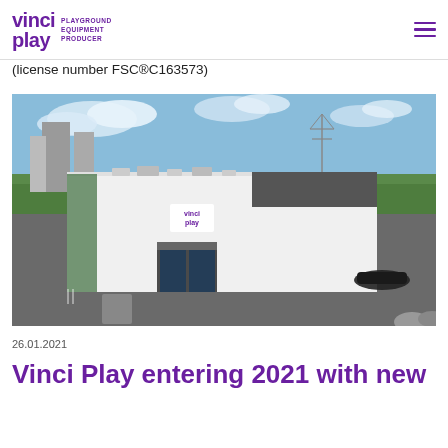vinci play PLAYGROUND EQUIPMENT PRODUCER
(license number FSC®C163573)
[Figure (photo): Aerial/elevated view of the Vinci Play factory building — a modern white industrial structure with a flat roof, HVAC equipment on top, a glass entrance canopy, and 'vinci play' logo on the facade. Surrounding landscape includes green fields, trees, parking area with a dark car, and industrial structures in the background under a partly cloudy blue sky.]
26.01.2021
Vinci Play entering 2021 with new